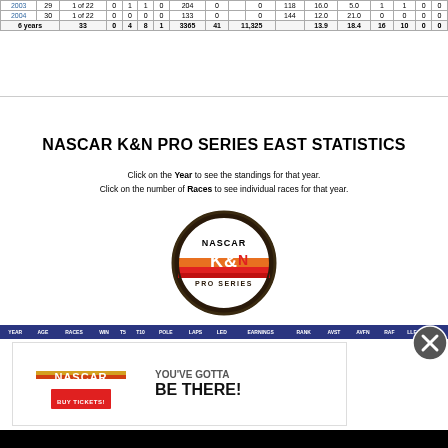| YEAR | AGE | RACES | WIN | T5 | T10 | POLE | LAPS | LED | EARNINGS | RANK | AVST | AVFN | RAF | LLF | DNQ |
| --- | --- | --- | --- | --- | --- | --- | --- | --- | --- | --- | --- | --- | --- | --- | --- |
| 2003 | 29 | 1 of 22 | 0 | 1 | 1 | 0 | 204 | 0 | 0 | 118 | 16.0 | 5.0 | 1 | 1 | 0 | 0 |
| 2004 | 30 | 1 of 22 | 0 | 0 | 0 | 0 | 133 | 0 | 0 | 144 | 12.0 | 21.0 | 0 | 0 | 0 | 0 |
| 6 years |  | 33 | 0 | 4 | 8 | 1 | 3365 | 41 | 11,325 |  | 13.9 | 18.4 | 16 | 10 | 0 | 0 |
NASCAR K&N PRO SERIES EAST STATISTICS
Click on the Year to see the standings for that year. Click on the number of Races to see individual races for that year.
[Figure (logo): NASCAR K&N Pro Series logo - orange and red diagonal stripes with NASCAR text on top and K&N logo]
| YEAR | AGE | RACES | WIN | T5 | T10 | POLE | LAPS | LED | EARNINGS | RANK | AVST | AVFN | RAF | LLF | DNQ |
| --- | --- | --- | --- | --- | --- | --- | --- | --- | --- | --- | --- | --- | --- | --- | --- |
[Figure (logo): NASCAR advertisement banner - BUY TICKETS with YOU'VE GOTTA BE THERE! text]